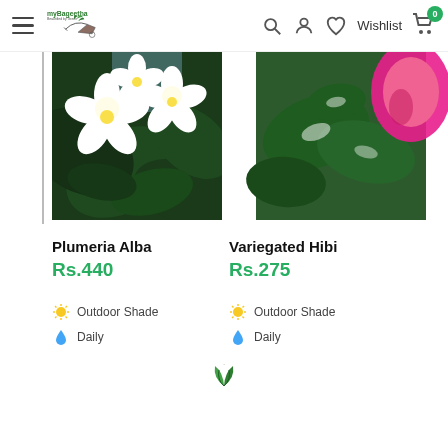myBageetha — Beautified by Green | Wishlist | Cart 0
[Figure (photo): Photo of white Plumeria Alba flowers with dark green leaves in the background]
Plumeria Alba
Rs.440
Outdoor Shade
Daily
[Figure (photo): Photo of Variegated Hibiscus plant with pink flower and green variegated leaves]
Variegated Hibi...
Rs.275
Outdoor Shade
Daily
[Figure (logo): myBageetha two green leaves logo at bottom center]